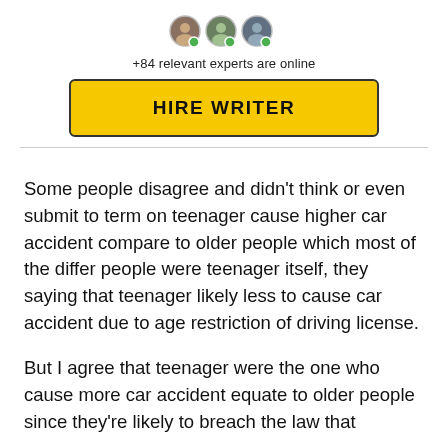[Figure (illustration): Three circular avatar icons with green online indicator dots]
+84 relevant experts are online
HIRE WRITER
Some people disagree and didn’t think or even submit to term on teenager cause higher car accident compare to older people which most of the differ people were teenager itself, they saying that teenager likely less to cause car accident due to age restriction of driving license.
But I agree that teenager were the one who cause more car accident equate to older people since they’re likely to breach the law that